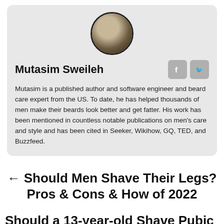[Figure (photo): Circular author avatar photo showing a person, cropped to a circle with a dark border]
Mutasim Sweileh
Mutasim is a published author and software engineer and beard care expert from the US. To date, he has helped thousands of men make their beards look better and get fatter. His work has been mentioned in countless notable publications on men's care and style and has been cited in Seeker, Wikihow, GQ, TED, and Buzzfeed.
← Should Men Shave Their Legs? Pros & Cons & How of 2022
Should a 13-year-old Shave Pubic Hair? Pros & Cons (2022)